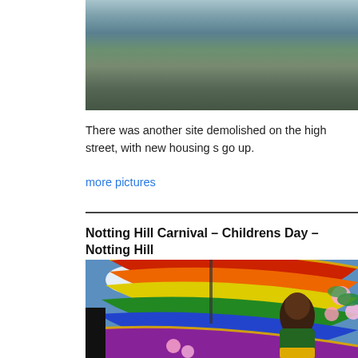[Figure (photo): Aerial or riverside view of a waterway with green vegetation and urban surroundings]
There was another site demolished on the high street, with new housing s go up.
more pictures
Notting Hill Carnival – Childrens Day – Notting Hill
[Figure (photo): Child in colorful rainbow carnival costume with large feathered wings at Notting Hill Carnival Children's Day]